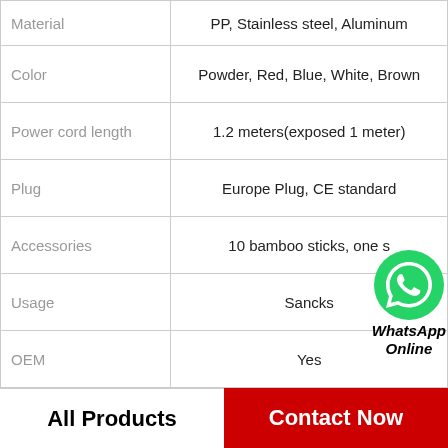| Attribute | Value |
| --- | --- |
| Material | PP, Stainless steel, Aluminum |
| Color | Powder, Red, Blue, White, Brown |
| Power cord length | 1.2 meters(exposed 1 meter) |
| Plug | Europe Plug, CE standard |
| Accessories | 10 bamboo sticks, one s… |
| Usage | Sancks |
| OEM | Yes |
| Product name | Cotton candy machine |
| After Warranty Service | No service |
All Products
Contact Now